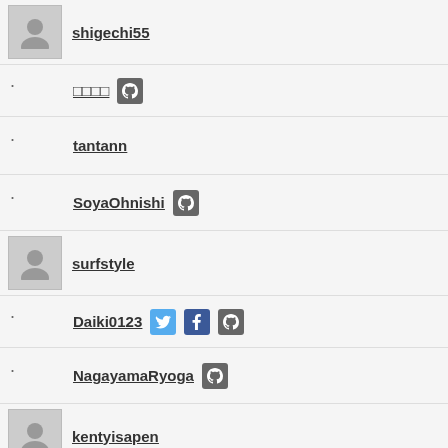shigechi55
□□□□ [GitHub]
tantann
SoyaOhnishi [GitHub]
surfstyle
Daiki0123 [Twitter] [Facebook] [GitHub]
NagayamaRyoga [GitHub]
kentyisapen